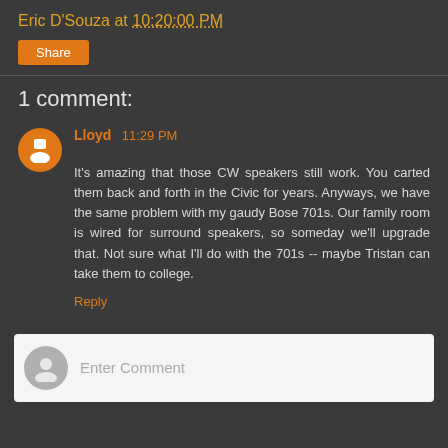Eric D'Souza at 10:20:00 PM
Share
1 comment:
Lloyd 11:29 PM
It's amazing that those CW speakers still work. You carted them back and forth in the Civic for years. Anyways, we have the same problem with my gaudy Bose 701s. Our family room is wired for surround speakers, so someday we'll upgrade that. Not sure what I'll do with the 701s -- maybe Tristan can take them to college.
Reply
Enter Comment